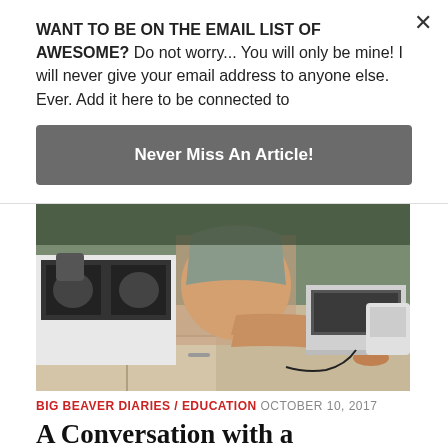WANT TO BE ON THE EMAIL LIST OF AWESOME? Do not worry... You will only be mine! I will never give your email address to anyone else. Ever. Add it here to be connected to
Never Miss An Article!
[Figure (photo): A person sitting on a kitchen counter with legs extended, kitchen appliances visible including a stove and toaster oven.]
BIG BEAVER DIARIES / EDUCATION  OCTOBER 10, 2017
A Conversation with a Transgender
A Conversation with a Transgender. I had been spending time in Manila, Philippines, with a lovely girl named Irene. We had spent the afternoon roaming the Manila North Cemetery, which was amazing as there are residents